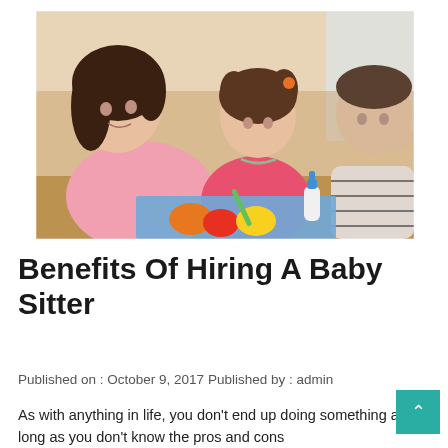[Figure (photo): A woman in a pink top supervising two children doing a craft activity on the floor. A girl in pink and a boy in a striped shirt are working with colored paper and glue.]
Benefits Of Hiring A Baby Sitter
Published on : October 9, 2017 Published by : admin
As with anything in life, you don't end up doing something as long as you don't know the pros and cons